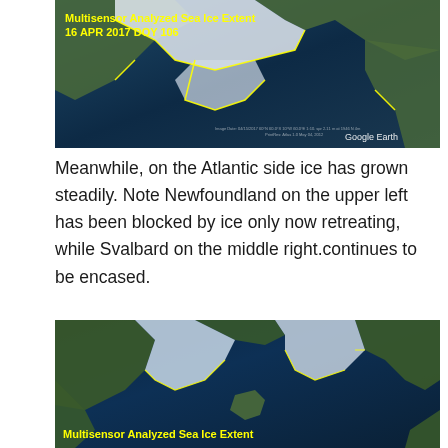[Figure (map): Multisensor Analyzed Sea Ice Extent map dated 16 APR 2017, DOY 106, showing Arctic sea ice extent with blue ocean and white/yellow ice boundary overlay. Google Earth label visible in bottom right.]
Meanwhile, on the Atlantic side ice has grown steadily.  Note Newfoundland on the upper left has been blocked by ice only now retreating, while Svalbard on the middle right.continues to be encased.
[Figure (map): Multisensor Analyzed Sea Ice Extent map showing Atlantic side sea ice with blue ocean, green land masses, and white ice coverage. Yellow text label at bottom left reads 'Multisensor Analyzed Sea Ice Extent'.]